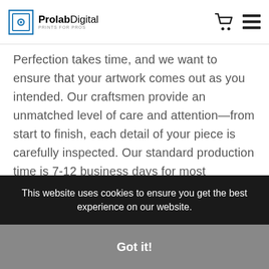ProlabDigital PRINTS FOR PROS
Perfection takes time, and we want to ensure that your artwork comes out as you intended. Our craftsmen provide an unmatched level of care and attention—from start to finish, each detail of your piece is carefully inspected. Our standard production time is 7-12 business days for most products. If you need it sooner, please call us at 310.846.4496.
This website uses cookies to ensure you get the best experience on our website.
Got it!